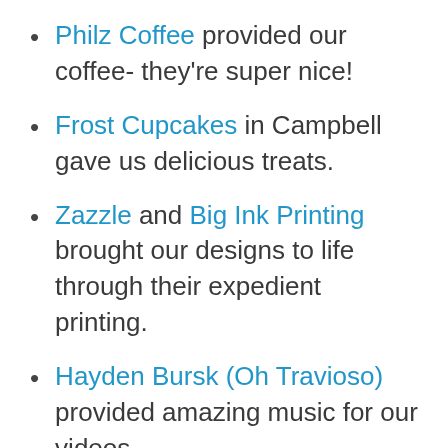Philz Coffee provided our coffee- they're super nice!
Frost Cupcakes in Campbell gave us delicious treats.
Zazzle and Big Ink Printing brought our designs to life through their expedient printing.
Hayden Bursk (Oh Travioso) provided amazing music for our videos.
Special thank you to our families, friends, and especially our volunteers for donating their time and energy: Jim Manalisay (Videos), James Stone (Web),